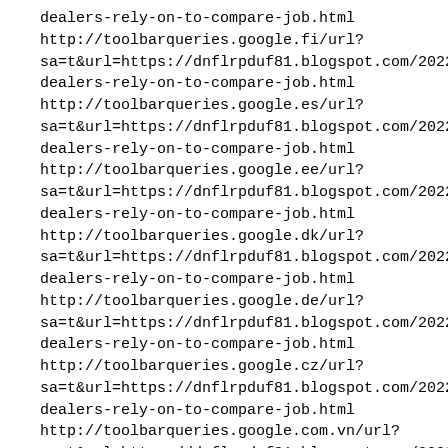dealers-rely-on-to-compare-job.html
http://toolbarqueries.google.fi/url?sa=t&url=https://dnflrpduf81.blogspot.com/2022/07/club-dealers-rely-on-to-compare-job.html
http://toolbarqueries.google.es/url?sa=t&url=https://dnflrpduf81.blogspot.com/2022/07/club-dealers-rely-on-to-compare-job.html
http://toolbarqueries.google.ee/url?sa=t&url=https://dnflrpduf81.blogspot.com/2022/07/club-dealers-rely-on-to-compare-job.html
http://toolbarqueries.google.dk/url?sa=t&url=https://dnflrpduf81.blogspot.com/2022/07/club-dealers-rely-on-to-compare-job.html
http://toolbarqueries.google.de/url?sa=t&url=https://dnflrpduf81.blogspot.com/2022/07/club-dealers-rely-on-to-compare-job.html
http://toolbarqueries.google.cz/url?sa=t&url=https://dnflrpduf81.blogspot.com/2022/07/club-dealers-rely-on-to-compare-job.html
http://toolbarqueries.google.com.vn/url?sa=t&url=https://dnflrpduf81.blogspot.com/2022/07/club-